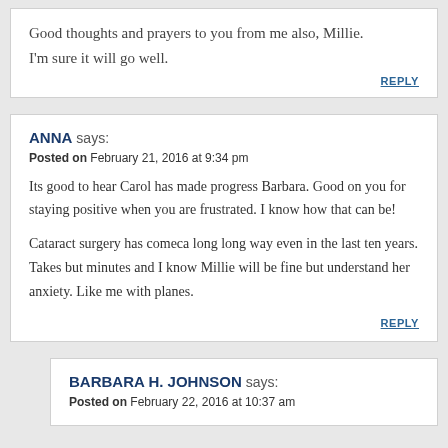Good thoughts and prayers to you from me also, Millie. I'm sure it will go well.
REPLY
ANNA says:
Posted on February 21, 2016 at 9:34 pm
Its good to hear Carol has made progress Barbara. Good on you for staying positive when you are frustrated. I know how that can be!
Cataract surgery has comeca long long way even in the last ten years. Takes but minutes and I know Millie will be fine but understand her anxiety. Like me with planes.
REPLY
BARBARA H. JOHNSON says:
Posted on February 22, 2016 at 10:37 am